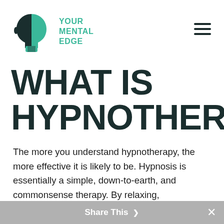[Figure (logo): Your Mental Edge logo — a human head silhouette split between dark charcoal and mint green with puzzle-piece cutouts, next to the text YOUR MENTAL EDGE in teal/green uppercase bold letters]
WHAT IS HYPNOTHERAPY?
The more you understand hypnotherapy, the more effective it is likely to be. Hypnosis is essentially a simple, down-to-earth, and commonsense therapy. By relaxing,
Share This